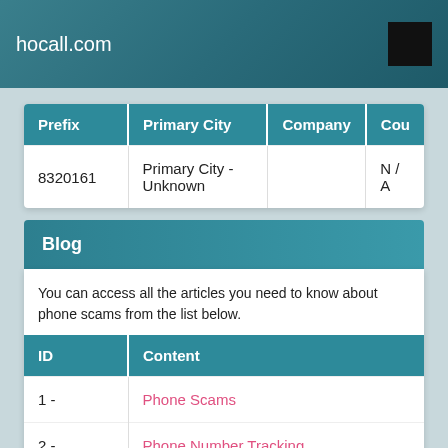hocall.com
| Prefix | Primary City | Company | Cou |
| --- | --- | --- | --- |
| 8320161 | Primary City - Unknown |  | N / A |
Blog
You can access all the articles you need to know about phone scams from the list below.
| ID | Content |
| --- | --- |
| 1 - | Phone Scams |
| 2 - | Phone Number Tracking |